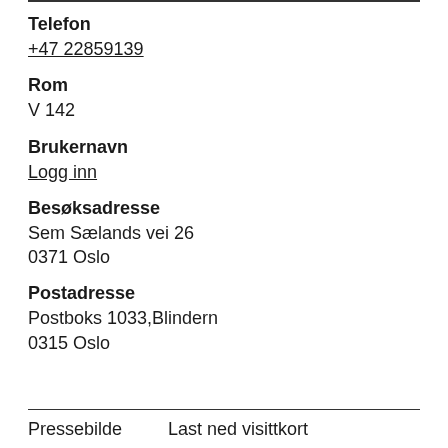Telefon
+47 22859139
Rom
V 142
Brukernavn
Logg inn
Besøksadresse
Sem Sælands vei 26
0371 Oslo
Postadresse
Postboks 1033,Blindern
0315 Oslo
Pressebilde    Last ned visittkort